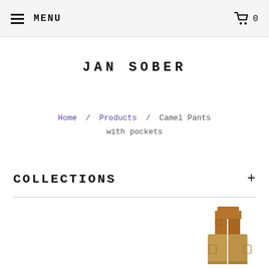MENU  [cart] 0
JAN SOBER
Home / Products / Camel Pants with pockets
COLLECTIONS +
[Figure (photo): Camel pants product image - front view, full length, brown/camel colored trousers on model lower body]
[Figure (photo): Camel pants product image - second view, shorter/cropped view of camel colored cargo pants]